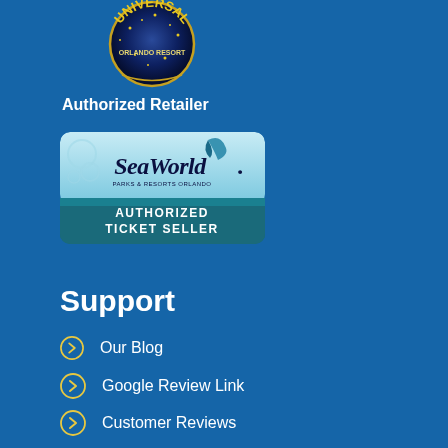[Figure (logo): Universal Orlando Resort logo globe with text 'UNIVERSAL ORLANDO RESORT']
Authorized Retailer
[Figure (logo): SeaWorld Parks & Resorts Orlando badge with dolphin fin, light blue gradient top area and dark teal bottom area reading 'AUTHORIZED TICKET SELLER']
Support
Our Blog
Google Review Link
Customer Reviews
Reservation Policy
Privacy Policy
Terms and Conditions
Copyright Info
Become an Affiliate